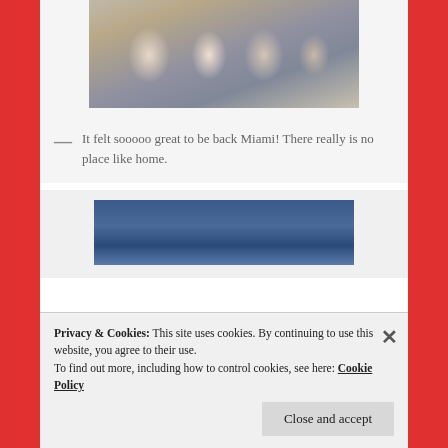[Figure (photo): Group of people in athletic/cycling gear sitting around an outdoor table, appears to be a seaside or waterfront setting]
— It felt sooooo great to be back Miami! There really is no place like home.
[Figure (photo): Blue-toned image, partially obscured by cookie banner overlay]
Privacy & Cookies: This site uses cookies. By continuing to use this website, you agree to their use.
To find out more, including how to control cookies, see here: Cookie Policy
Close and accept